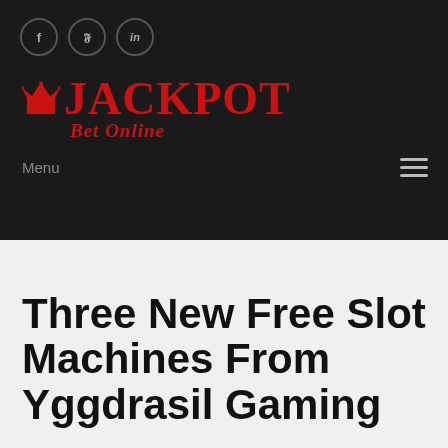[Figure (logo): Jackpot Bet Online logo with crown icon, red text on dark background]
Three New Free Slot Machines From Yggdrasil Gaming